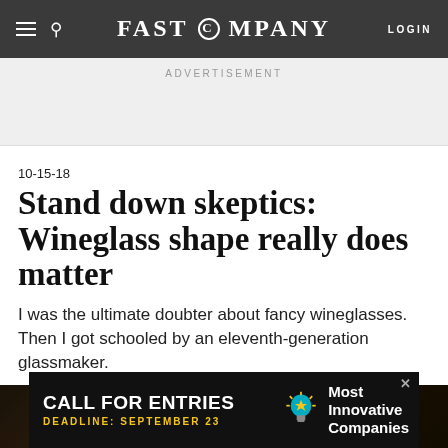FAST COMPANY
ADVERTISEMENT
10-15-18
Stand down skeptics: Wineglass shape really does matter
I was the ultimate doubter about fancy wineglasses. Then I got schooled by an eleventh-generation glassmaker.
[Figure (photo): Dark background photo, partial view of wineglasses]
[Figure (infographic): Advertisement banner: CALL FOR ENTRIES, DEADLINE: SEPTEMBER 23, Most Innovative Companies, with lightbulb icon]